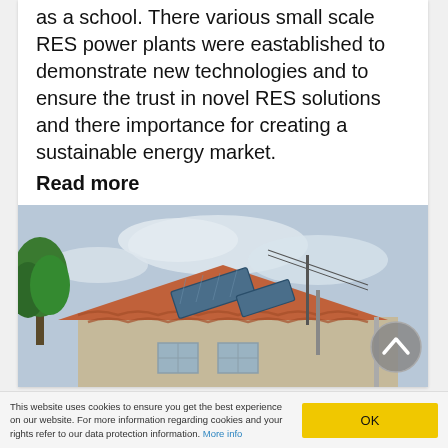as a school. There various small scale RES power plants were eastablished to demonstrate new technologies and to ensure the trust in novel RES solutions and there importance for creating a sustainable energy market.
Read more
[Figure (photo): Photo of a residential building with solar panels installed on an orange-tiled roof, with a tree visible on the left and cloudy sky in the background.]
This website uses cookies to ensure you get the best experience on our website. For more information regarding cookies and your rights refer to our data protection information. More info